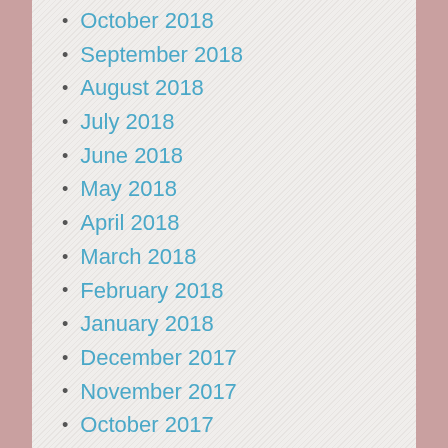October 2018
September 2018
August 2018
July 2018
June 2018
May 2018
April 2018
March 2018
February 2018
January 2018
December 2017
November 2017
October 2017
September 2017
August 2017
July 2017
June 2017
May 2017
April 2017